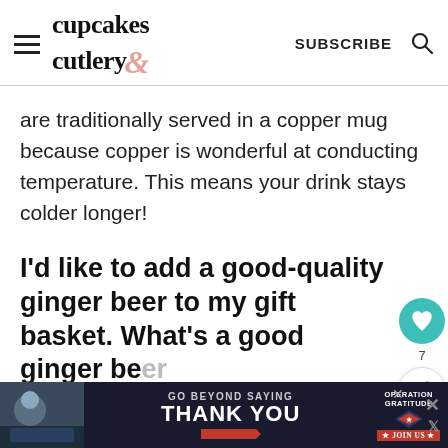cupcakes & cutlery — SUBSCRIBE
are traditionally served in a copper mug because copper is wonderful at conducting temperature. This means your drink stays colder longer!
I’d like to add a good-quality ginger beer to my gift basket. What’s a good ginger beer option for Moscow Mules?
[Figure (screenshot): What's Next widget showing Pixi Beauty Products with circular product image thumbnail]
[Figure (screenshot): Advertisement banner: Operation Gratitude - Go Beyond Saying Thank You / Join Us]
[Figure (infographic): Social sidebar with heart (favorite) button showing count 7 and share button]